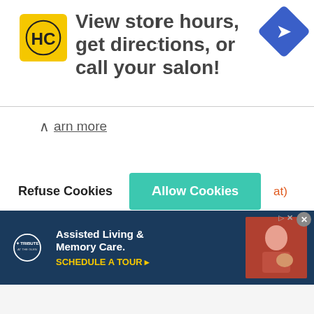[Figure (screenshot): Top advertisement banner for HC salon with yellow logo, navigation text 'View store hours, get directions, or call your salon!' and blue diamond navigation icon]
arn more
Refuse Cookies   Allow Cookies   at)
2. Heavenly Mango Tapioca Recipe (511,331)
3. Maja Jelly Recipe (644,230)
4. HOW TO MAKE SANTOL JUICE (554,600)
5. Taisan Recipe (538,485)
6. PORK DE PICKLES (Menudo ng Marikina) (529,662)
7. Batangas Lomi (512,226)
[Figure (screenshot): Infolinks and Tribute at the Glen bottom advertisement: Assisted Living & Memory Care. SCHEDULE A TOUR with person holding pet photo]